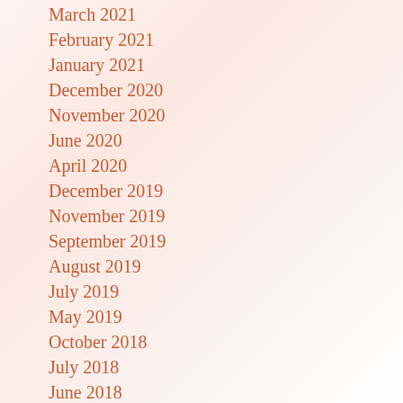March 2021
February 2021
January 2021
December 2020
November 2020
June 2020
April 2020
December 2019
November 2019
September 2019
August 2019
July 2019
May 2019
October 2018
July 2018
June 2018
December 2017